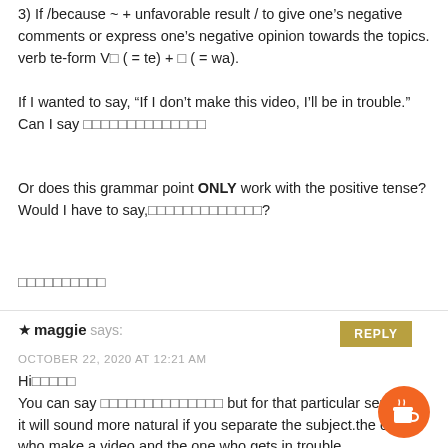3) If /because ~ + unfavorable result / to give one's negative comments or express one's negative opinion towards the topics.
verb te-form V□ ( = te) + □ ( = wa).
If I wanted to say, "If I don't make this video, I'll be in trouble."
Can I say □□□□□□□□□□□□□□
Or does this grammar point ONLY work with the positive tense? Would I have to say,□□□□□□□□□□□□□?
□□□□□□□□□□
★ maggie says:
OCTOBER 22, 2020 AT 12:21 AM
Hi□□□□□
You can say □□□□□□□□□□□□□□ but for that particular sentence, it will sound more natural if you separate the subject.the one who make a video and the one who gets in trouble.
Ex. If you don't make a video, I will be in trouble.
I don't exactly understand what you meant by □□ but you can u affirmative form.
□□□□□□□□□□ Again, the subject should be different. If you make a video, I will